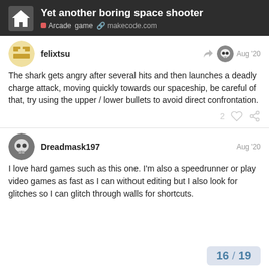Yet another boring space shooter — Arcade game makecode.com
felixtsu — Aug '20
The shark gets angry after several hits and then launches a deadly charge attack, moving quickly towards our spaceship, be careful of that, try using the upper / lower bullets to avoid direct confrontation.
Dreadmask197 — Aug '20
I love hard games such as this one. I'm also a speedrunner or play video games as fast as I can without editing but I also look for glitches so I can glitch through walls for shortcuts.
16 / 19